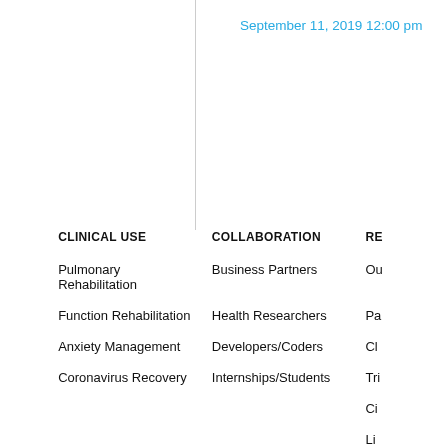September 11, 2019 12:00 pm
| INOLOGY | CLINICAL USE | COLLABORATION | RE |
| --- | --- | --- | --- |
| ching | Pulmonary Rehabilitation | Business Partners | Ou |
| set | Function Rehabilitation | Health Researchers | Pa |
| active | Anxiety Management | Developers/Coders | Cl |
| a | Coronavirus Recovery | Internships/Students | Tri |
| le |  |  | Ci |
| ulation |  |  | Li |
| s-free |  |  | Cl |